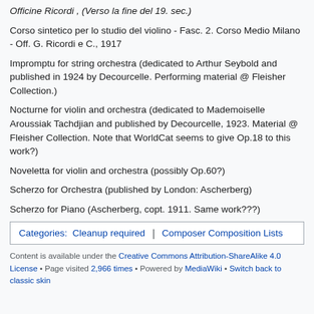Officine Ricordi , (Verso la fine del 19. sec.)
Corso sintetico per lo studio del violino - Fasc. 2. Corso Medio Milano - Off. G. Ricordi e C., 1917
Impromptu for string orchestra (dedicated to Arthur Seybold and published in 1924 by Decourcelle. Performing material @ Fleisher Collection.)
Nocturne for violin and orchestra (dedicated to Mademoiselle Aroussiak Tachdjian and published by Decourcelle, 1923. Material @ Fleisher Collection. Note that WorldCat seems to give Op.18 to this work?)
Noveletta for violin and orchestra (possibly Op.60?)
Scherzo for Orchestra (published by London: Ascherberg)
Scherzo for Piano (Ascherberg, copt. 1911. Same work???)
Categories: Cleanup required | Composer Composition Lists
Content is available under the Creative Commons Attribution-ShareAlike 4.0 License • Page visited 2,966 times • Powered by MediaWiki • Switch back to classic skin